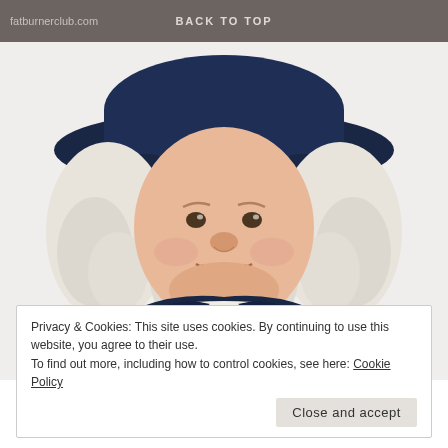fatburnerclub.com   BACK TO TOP
[Figure (illustration): Quaker Oats man mascot: a smiling colonial-era man with white curly wig, dark navy wide-brimmed hat, dark navy coat with white ruffled cravat, depicted from shoulders up.]
Privacy & Cookies: This site uses cookies. By continuing to use this website, you agree to their use.
To find out more, including how to control cookies, see here: Cookie Policy
Close and accept